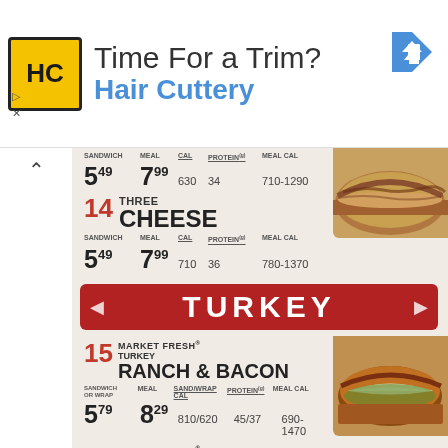[Figure (advertisement): Hair Cuttery advertisement banner with yellow HC logo, text 'Time For a Trim? Hair Cuttery', and a blue direction arrow icon]
[Figure (photo): Partial photo of a meat sandwich (top right of menu area)]
SANDWICH 5⁴⁹  MEAL 7⁹⁹  CAL 630  PROTEIN(g) 34  MEAL CAL 710-1290
14 THREE CHEESE
SANDWICH 5⁴⁹  MEAL 7⁹⁹  CAL 710  PROTEIN(g) 36  MEAL CAL 780-1370
[Figure (infographic): Red banner with white bold text 'TURKEY' with arrow decorations on left and right]
15 MARKET FRESH® TURKEY RANCH & BACON
SANDWICH OR WRAP 5⁷⁹  MEAL 8²⁹  SAND/WRAP CAL 810/620  PROTEIN(g) 45/37  MEAL CAL 690-1470
[Figure (photo): Photo of a turkey ranch and bacon sandwich on dark bread with lettuce and sauce]
16 MARKET FRESH® TURKEY & SWISS
SANDWICH OR WRAP 5⁴⁹  MEAL 7⁹⁹  SAND/WRAP CAL 720/520  PROTEIN(g) 38/30  MEAL CAL 590-1380